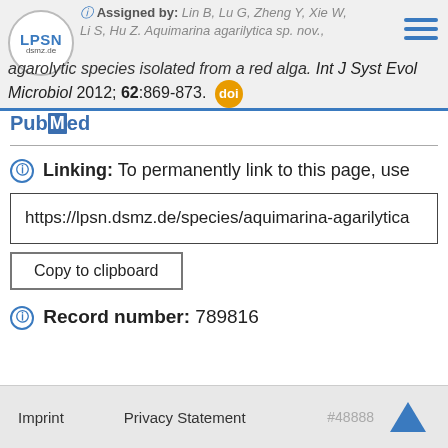Assigned by: Lin B, Lu G, Zheng Y, Xie W, Li S, Hu Z. Aquimarina agarilytica sp. nov., an agarolytic species isolated from a red alga. Int J Syst Evol Microbiol 2012; 62:869-873.
PubMed
Linking: To permanently link to this page, use
https://lpsn.dsmz.de/species/aquimarina-agarilytica
Copy to clipboard
Record number: 789816
Imprint   Privacy Statement   #48888